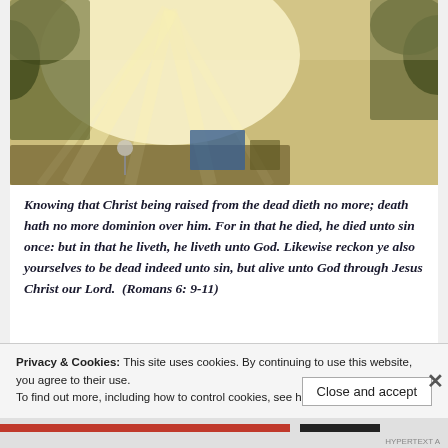[Figure (photo): Outdoor scene with sunlight rays streaming through trees and mist, illuminating a backyard or outdoor area with warm golden light.]
Knowing that Christ being raised from the dead dieth no more; death hath no more dominion over him. For in that he died, he died unto sin once: but in that he liveth, he liveth unto God. Likewise reckon ye also yourselves to be dead indeed unto sin, but alive unto God through Jesus Christ our Lord.  (Romans 6: 9-11)
Privacy & Cookies: This site uses cookies. By continuing to use this website, you agree to their use.
To find out more, including how to control cookies, see here: Cookie Policy
Close and accept